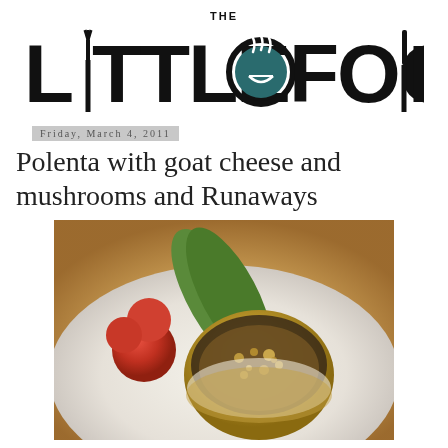THE LITTLE FOODIE
Friday, March 4, 2011
Polenta with goat cheese and mushrooms and Runaways
[Figure (photo): A plated dish showing a round polenta cake topped with mushrooms and goat cheese crumble, served alongside cherry tomatoes and sugar snap peas on a white plate.]